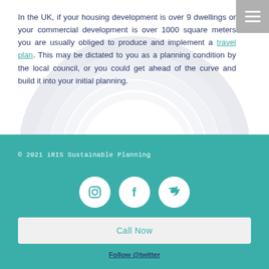In the UK, if your housing development is over 9 dwellings or your commercial development is over 1000 square meters you are usually obliged to produce and implement a travel plan. This may be dictated to you as a planning condition by the local council, or you could get ahead of the curve and build it into your initial planning.
© 2021 iRIS Sustainable Planning
[Figure (other): Social media icons: Instagram, Facebook, Twitter in white circles on teal background]
Call Now
Follow @twitter